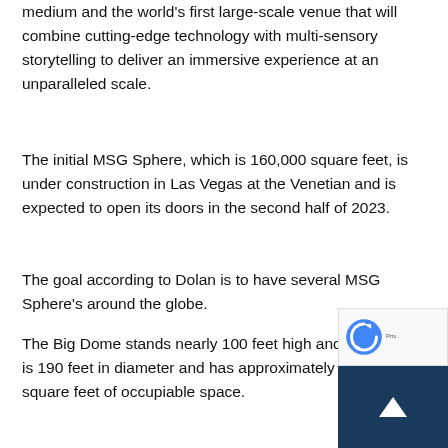medium and the world's first large-scale venue that will combine cutting-edge technology with multi-sensory storytelling to deliver an immersive experience at an unparalleled scale.
The initial MSG Sphere, which is 160,000 square feet, is under construction in Las Vegas at the Venetian and is expected to open its doors in the second half of 2023.
The goal according to Dolan is to have several MSG Sphere's around the globe.
The Big Dome stands nearly 100 feet high and at its base is 190 feet in diameter and has approximately 28,000 square feet of occupiable space.
The LED screen is a quarter-scale, full-resolution proto… of the LED screen being built at the Venetian, and it features…